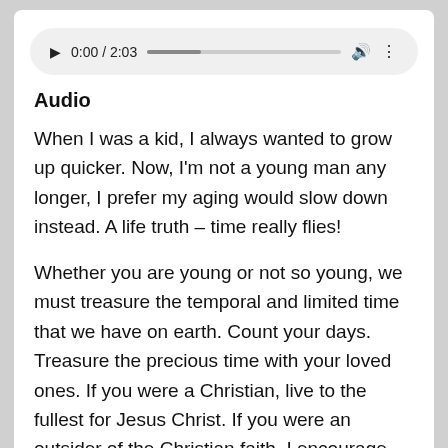[Figure (other): Audio player UI with play button, time display 0:00 / 2:03, progress bar, volume icon, and more options icon]
Audio
When I was a kid, I always wanted to grow up quicker. Now, I'm not a young man any longer, I prefer my aging would slow down instead. A life truth – time really flies!
Whether you are young or not so young, we must treasure the temporal and limited time that we have on earth. Count your days. Treasure the precious time with your loved ones. If you were a Christian, live to the fullest for Jesus Christ. If you were an outsider of the Christian faith, I encourage you to spend time understanding